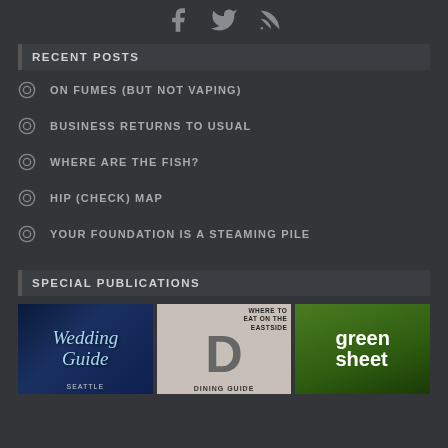[Figure (infographic): Social media icons: Facebook, Twitter, RSS feed in grey on dark background]
RECENT POSTS
ON FUMES (BUT NOT VAPING)
BUSINESS RETURNS TO USUAL
WHERE ARE THE FISH?
HIP (CHECK) MAP
YOUR FOUNDATION IS A STEAMING PILE
SPECIAL PUBLICATIONS
[Figure (photo): Three publication thumbnails: Wedding Guide (dark blue), Dining Guide (grey with large D), Green Sheet (green)]